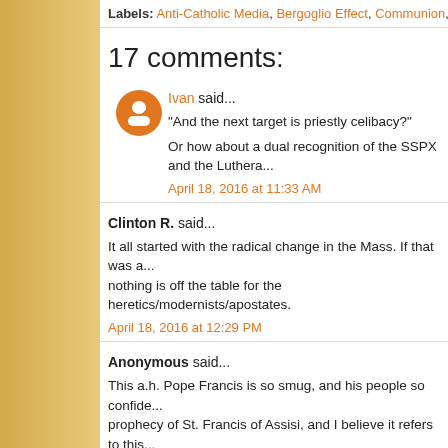Labels: Anti-Catholic Media, Bergoglio Effect, Communion, Divorced and Re...
17 comments:
Ivan said...
"And the next target is priestly celibacy?"
Or how about a dual recognition of the SSPX and the Luthera...
April 18, 2016 at 11:33 AM
Clinton R. said...
It all started with the radical change in the Mass. If that was a... nothing is off the table for the heretics/modernists/apostates.
April 18, 2016 at 12:29 PM
Anonymous said...
This a.h. Pope Francis is so smug, and his people so confide... prophecy of St. Francis of Assisi, and I believe it refers to this... chosen and special saints with outstanding gifts. We all know... greatest of the Saints in Heaven, the Blessed Virgin Mary....b... some humble or exalted peopleof great holiness for special G...